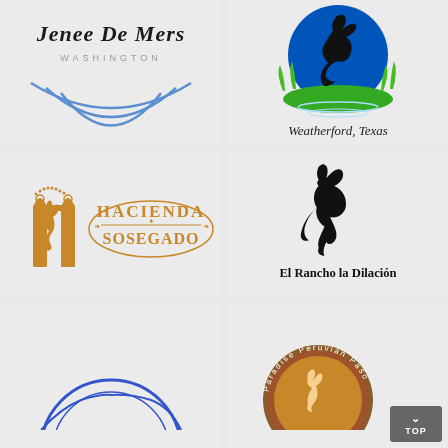[Figure (logo): Logo for Jenee De Mers, Washington. Shows italic bold text 'Jenee De Mers' with 'WASHINGTON' in small caps below, and three concentric blue arc/smile lines beneath.]
[Figure (logo): Logo featuring a horse silhouette rearing up against a blue circle/moon background with green grass and water ripples. Text reads 'Weatherford, Texas' in italic serif font below.]
[Figure (logo): Hacienda Sosegado logo in gold/amber color. Features an ornate gate/archway with a rearing horse figure and decorative text 'HACIENDA SOSEGADO' in an oval arrangement.]
[Figure (logo): El Rancho la Dilación logo. Shows a black silhouette of a horse in a proud/stepping pose. Text 'El Rancho la Dilación' in bold serif below.]
[Figure (logo): Partial logo visible at bottom-left, appears to be a circular blue emblem, partially cut off.]
[Figure (logo): Paradise Peruvian Paso logo at bottom-right, circular badge design with a horse image and text around the perimeter, partially visible. A 'TOP' navigation button overlays the corner.]